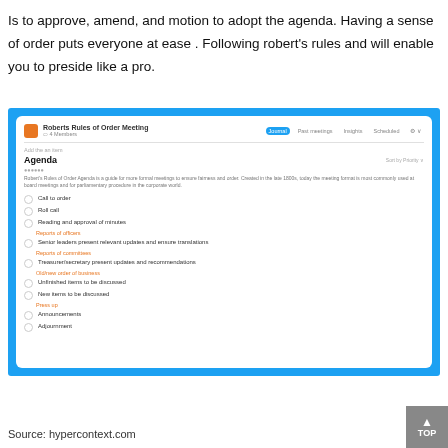Is to approve, amend, and motion to adopt the agenda. Having a sense of order puts everyone at ease . Following robert's rules and will enable you to preside like a pro.
[Figure (screenshot): Screenshot of a Roberts Rules of Order Meeting agenda tool (hypercontext.com) displayed on a blue background. The app shows an agenda with items: Call to order, Roll call, Reading and approval of minutes (Reports of officers), Senior leaders present relevant updates and ensure translations (Reports of committees), Treasurer/secretary present updates and recommendations (Old/new order of business), Unfinished items to be discussed, New items to be discussed (Press up), Announcements, Adjournment.]
Source: hypercontext.com